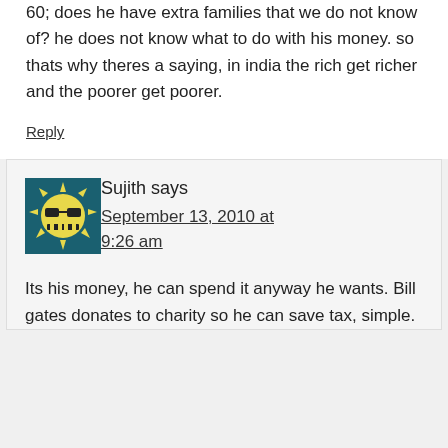60; does he have extra families that we do not know of? he does not know what to do with his money. so thats why theres a saying, in india the rich get richer and the poorer get poorer.
Reply
[Figure (illustration): User avatar icon showing a cartoon sun face with sunglasses and jagged teeth on a dark teal/blue background]
Sujith says
September 13, 2010 at 9:26 am
Its his money, he can spend it anyway he wants. Bill gates donates to charity so he can save tax, simple.